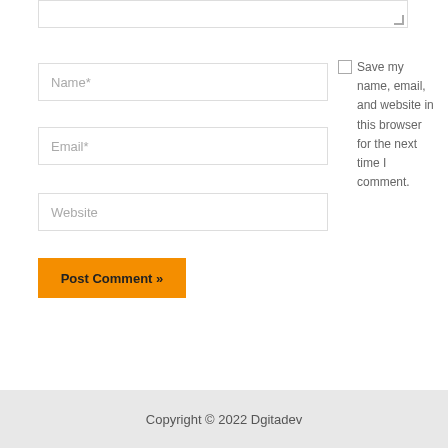[Figure (screenshot): Textarea input stub at top of comment form, partially visible]
Name*
Email*
Website
Save my name, email, and website in this browser for the next time I comment.
Post Comment »
Copyright © 2022 Dgitadev